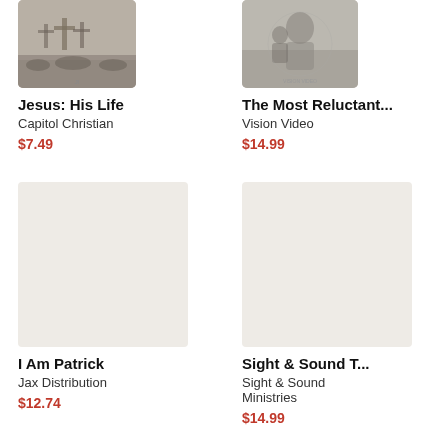[Figure (photo): Book/DVD cover image for Jesus: His Life — cross silhouette scene]
Jesus: His Life
Capitol Christian
$7.49
[Figure (photo): Book/DVD cover image for The Most Reluctant...]
The Most Reluctant...
Vision Video
$14.99
[Figure (photo): Placeholder image area for I Am Patrick product]
I Am Patrick
Jax Distribution
$12.74
[Figure (photo): Placeholder image area for Sight & Sound T... product]
Sight & Sound T...
Sight & Sound Ministries
$14.99